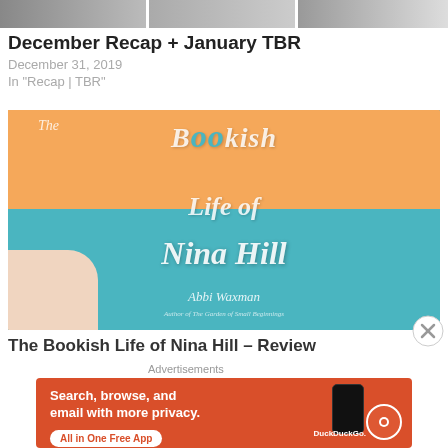[Figure (photo): Top strip showing partial thumbnail images of blog post previews]
December Recap + January TBR
December 31, 2019
In "Recap | TBR"
[Figure (photo): Photo of a hand holding the book 'The Bookish Life of Nina Hill' by Abbi Waxman, with a yellow and teal cover featuring an illustrated red-haired woman with blue glasses]
The Bookish Life of Nina Hill – Review
Advertisements
[Figure (other): DuckDuckGo advertisement banner: 'Search, browse, and email with more privacy. All in One Free App' with DuckDuckGo logo and phone mockup on orange/red background]